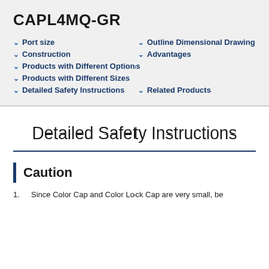CAPL4MQ-GR
Port size
Outline Dimensional Drawing
Construction
Advantages
Products with Different Options
Products with Different Sizes
Detailed Safety Instructions
Related Products
Detailed Safety Instructions
Caution
Since Color Cap and Color Lock Cap are very small, be